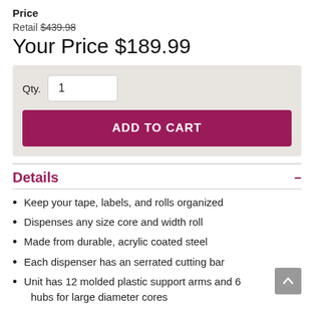Price
Retail $439.98
Your Price $189.99
Qty. 1
ADD TO CART
Details
Keep your tape, labels, and rolls organized
Dispenses any size core and width roll
Made from durable, acrylic coated steel
Each dispenser has an serrated cutting bar
Unit has 12 molded plastic support arms and 6
hubs for large diameter cores